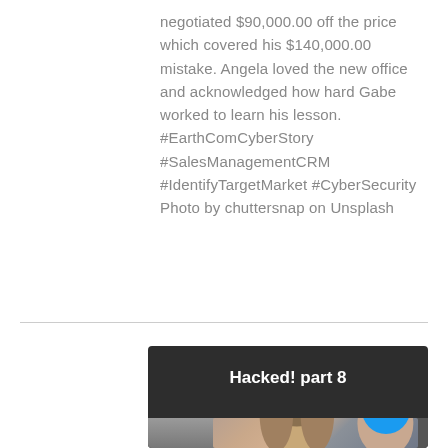negotiated $90,000.00 off the price which covered his $140,000.00 mistake. Angela loved the new office and acknowledged how hard Gabe worked to learn his lesson. #EarthComCyberStory #SalesManagementCRM #IdentifyTargetMarket #CyberSecurity Photo by chuttersnap on Unsplash
[Figure (illustration): Dark card with title 'Hacked! part 8' and a photo of a woman and man looking at something together, with a blue chat/more button in the bottom right corner.]